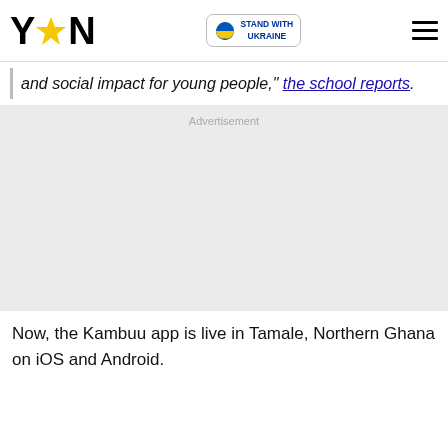YEN
and social impact for young people," the school reports.
[Figure (other): Advertisement placeholder block with light gray background]
Now, the Kambuu app is live in Tamale, Northern Ghana on iOS and Android.